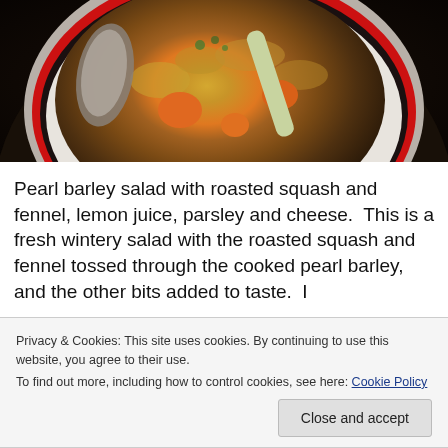[Figure (photo): Close-up photo of a bowl of pearl barley salad with roasted squash and fennel, served in a white bowl with red rim, with a spoon visible.]
Pearl barley salad with roasted squash and fennel, lemon juice, parsley and cheese.  This is a fresh wintery salad with the roasted squash and fennel tossed through the cooked pearl barley, and the other bits added to taste.  I
Privacy & Cookies: This site uses cookies. By continuing to use this website, you agree to their use.
To find out more, including how to control cookies, see here: Cookie Policy
Close and accept